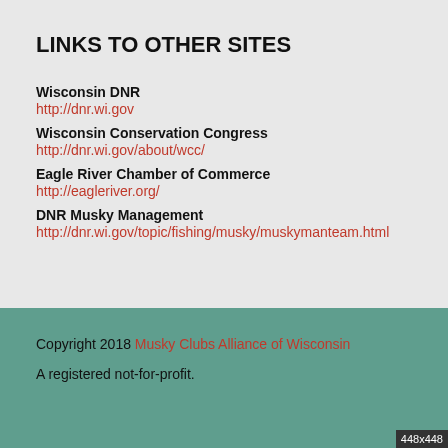LINKS TO OTHER SITES
Wisconsin DNR
http://dnr.wi.gov
Wisconsin Conservation Congress
http://dnr.wi.gov/about/wcc/
Eagle River Chamber of Commerce
http://eagleriver.org/
DNR Musky Management
http://dnr.wi.gov/topic/fishing/musky/muskymanteam.html
Copyright 2018 Musky Clubs Alliance of Wisconsin
A registered not-for-profit.